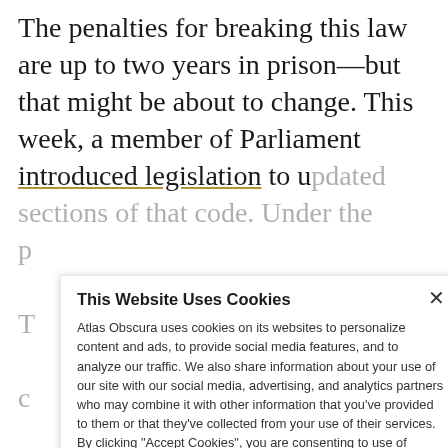The penalties for breaking this law are up to two years in prison—but that might be about to change. This week, a member of Parliament introduced legislation to u[pdated sections of that code. Under the p...
T... c... e... n...
D... l... Aaron Burr, who shot and killed Alexander Hamilton because of something the latter said at a New York
This Website Uses Cookies
Atlas Obscura uses cookies on its websites to personalize content and ads, to provide social media features, and to analyze our traffic. We also share information about your use of our site with our social media, advertising, and analytics partners who may combine it with other information that you've provided to them or that they've collected from your use of their services. By clicking "Accept Cookies", you are consenting to use of cookies as described in our Cookie Policy. View Cookie Policy
Manage Preferences
Allow Cookies